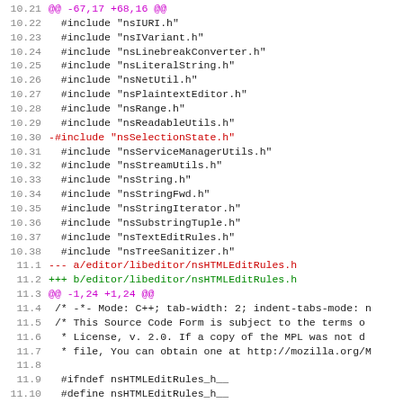[Figure (screenshot): Code diff viewer showing lines 10.21 through 11.15, displaying C++ header file changes including a removed include for nsSelectionState.h and added include for SelectionState.h in nsHTMLEditRules.h]